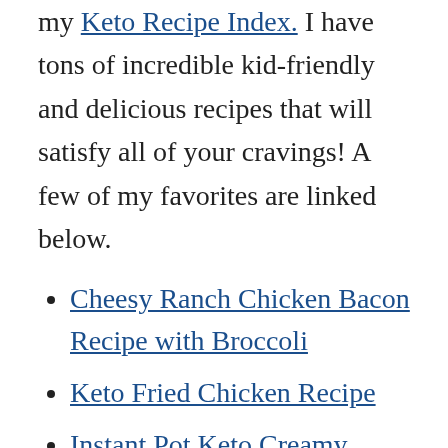my Keto Recipe Index. I have tons of incredible kid-friendly and delicious recipes that will satisfy all of your cravings! A few of my favorites are linked below.
Cheesy Ranch Chicken Bacon Recipe with Broccoli
Keto Fried Chicken Recipe
Instant Pot Keto Creamy Chicken with Bacon and Cheese
If you aren't already following my Easy Keto/Low Carb Recipe Page on Facebook, where I post all